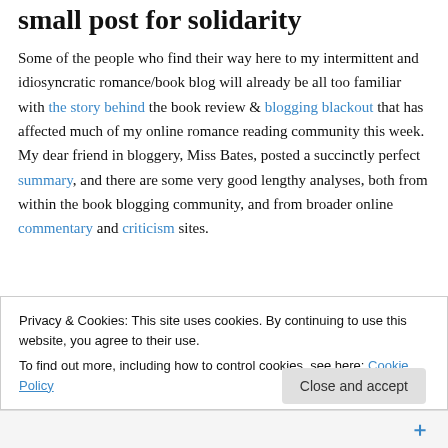small post for solidarity
Some of the people who find their way here to my intermittent and idiosyncratic romance/book blog will already be all too familiar with the story behind the book review & blogging blackout that has affected much of my online romance reading community this week. My dear friend in bloggery, Miss Bates, posted a succinctly perfect summary, and there are some very good lengthy analyses, both from within the book blogging community, and from broader online commentary and criticism sites.
Privacy & Cookies: This site uses cookies. By continuing to use this website, you agree to their use.
To find out more, including how to control cookies, see here: Cookie Policy